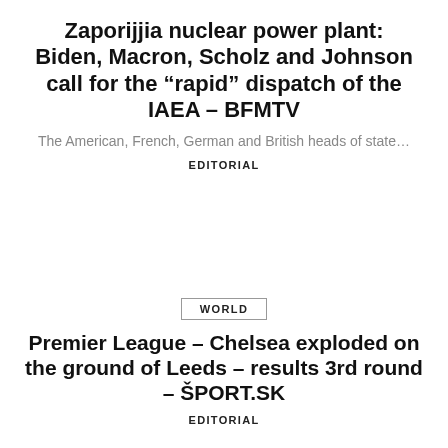Zaporijjia nuclear power plant: Biden, Macron, Scholz and Johnson call for the “rapid” dispatch of the IAEA – BFMTV
The American, French, German and British heads of state…
EDITORIAL
WORLD
Premier League – Chelsea exploded on the ground of Leeds – results 3rd round – ŠPORT.SK
EDITORIAL